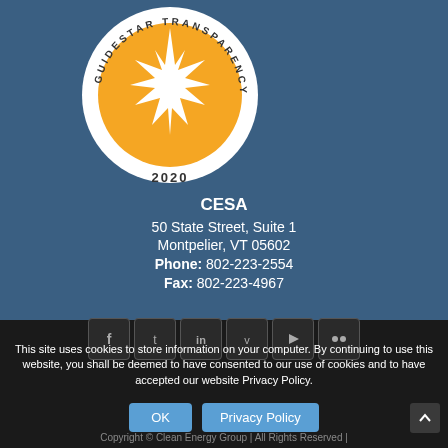[Figure (logo): GuideStar Transparency 2020 seal — circular badge with orange/gold star burst on white background, text reading GUIDESTAR TRANSPARENCY around the edge, 2020 at bottom]
CESA
50 State Street, Suite 1
Montpelier, VT 05602
Phone: 802-223-2554
Fax: 802-223-4967
[Figure (infographic): Social media icon buttons: Facebook, Twitter, LinkedIn, Vimeo, YouTube, Flickr]
This site uses cookies to store information on your computer. By continuing to use this website, you shall be deemed to have consented to our use of cookies and to have accepted our website Privacy Policy.
OK    Privacy Policy
Copyright © Clean Energy Group | All Rights Reserved |